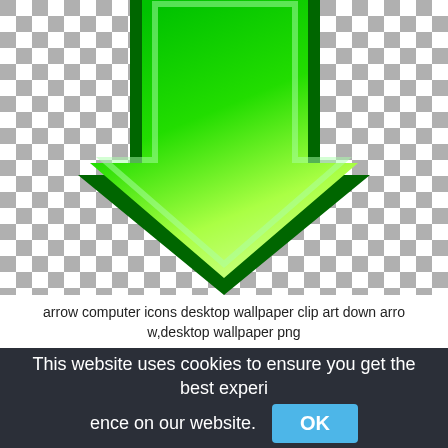[Figure (illustration): A large green downward-pointing arrow icon on a transparent (checkerboard) background. The arrow has a dark green outline and a bright green to light green gradient fill.]
arrow computer icons desktop wallpaper clip art down arrow,desktop wallpaper png
This website uses cookies to ensure you get the best experience on our website. OK